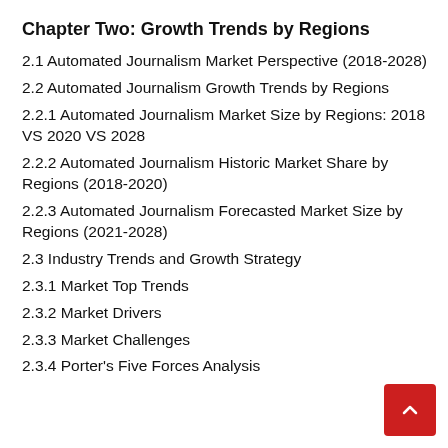Chapter Two: Growth Trends by Regions
2.1 Automated Journalism Market Perspective (2018-2028)
2.2 Automated Journalism Growth Trends by Regions
2.2.1 Automated Journalism Market Size by Regions: 2018 VS 2020 VS 2028
2.2.2 Automated Journalism Historic Market Share by Regions (2018-2020)
2.2.3 Automated Journalism Forecasted Market Size by Regions (2021-2028)
2.3 Industry Trends and Growth Strategy
2.3.1 Market Top Trends
2.3.2 Market Drivers
2.3.3 Market Challenges
2.3.4 Porter's Five Forces Analysis